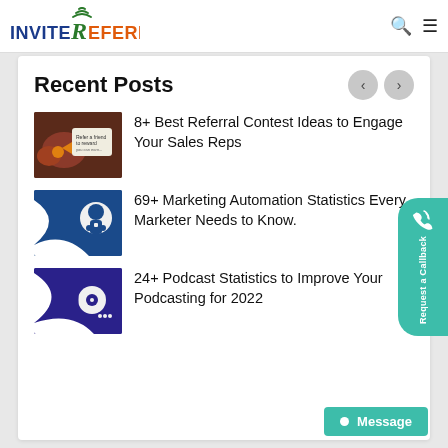INVITE REFERRALS
Recent Posts
8+ Best Referral Contest Ideas to Engage Your Sales Reps
69+ Marketing Automation Statistics Every Marketer Needs to Know.
24+ Podcast Statistics to Improve Your Podcasting for 2022